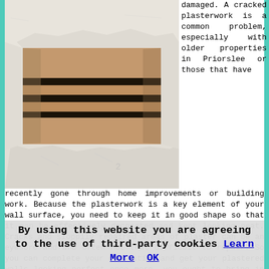[Figure (photo): Photo of damaged plasterwork on a wall, showing a large hole or crack revealing the underlying brickwork/lath beneath the white plaster surface.]
damaged. A cracked plasterwork is a common problem, especially with older properties in Priorslee or those that have recently gone through home improvements or building work. Because the plasterwork is a key element of your wall surface, you need to keep it in good shape so that it can be effectively decorated and kept looking neat. Cracks and sloppily repaired areas of plaster can be an eyesore and are often not that difficult to repair. So you can complete your decorating and get your plastered walls looking perfect once more, you ought to bring in a professional Priorslee plasterer who'll have your walls looking great again in no time at all. Your plaster finish can be impacted by several different problems, with accidental damage, shrinking, settlement, vibration and dampness being
By using this website you are agreeing to the use of third-party cookies Learn More OK